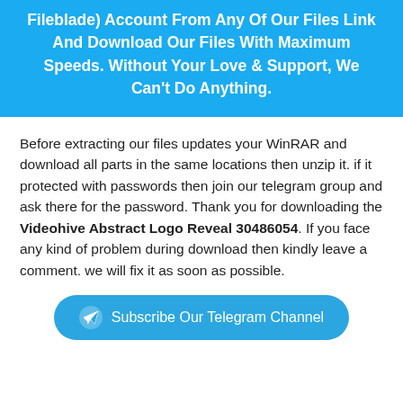Fileblade) Account From Any Of Our Files Link And Download Our Files With Maximum Speeds. Without Your Love & Support, We Can't Do Anything.
Before extracting our files updates your WinRAR and download all parts in the same locations then unzip it. if it protected with passwords then join our telegram group and ask there for the password. Thank you for downloading the Videohive Abstract Logo Reveal 30486054. If you face any kind of problem during download then kindly leave a comment. we will fix it as soon as possible.
Subscribe Our Telegram Channel